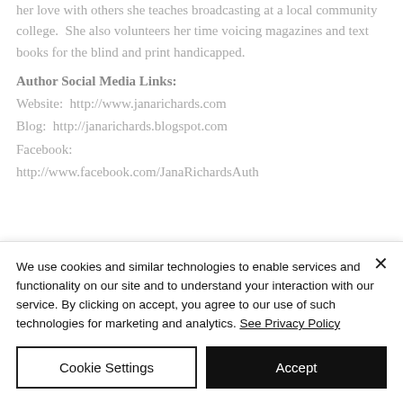her love with others she teaches broadcasting at a local community college.  She also volunteers her time voicing magazines and text books for the blind and print handicapped.
Author Social Media Links:
Website:  http://www.janarichards.com
Blog:  http://janarichards.blogspot.com
Facebook:
http://www.facebook.com/JanaRichardsAuth
We use cookies and similar technologies to enable services and functionality on our site and to understand your interaction with our service. By clicking on accept, you agree to our use of such technologies for marketing and analytics. See Privacy Policy